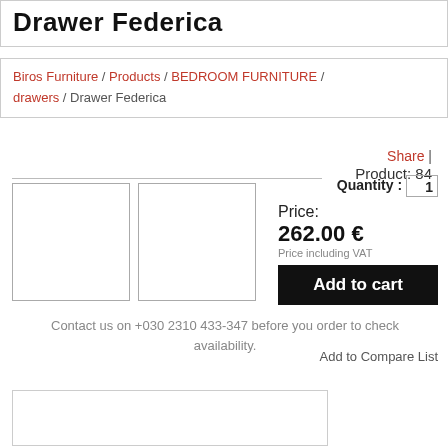Drawer Federica
Biros Furniture / Products / BEDROOM FURNITURE / drawers / Drawer Federica
Share |
Product: 84
[Figure (photo): Two empty white thumbnail image placeholders side by side]
Quantity : 1
Price: 262.00 €
Price including VAT
Add to cart
Contact us on +030 2310 433-347 before you order to check availability.
Add to Compare List